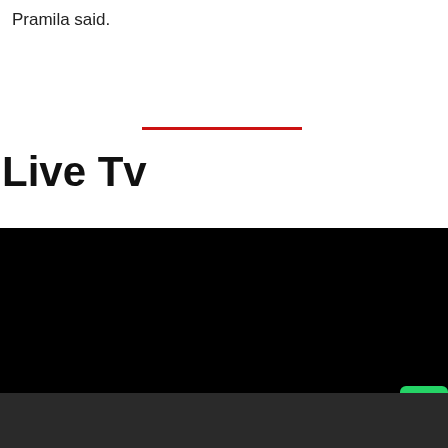Pramila said.
[Figure (other): Red horizontal divider line]
Live Tv
[Figure (screenshot): Black video player area with a red 'Read in App' button in the center, a green WhatsApp share button on the right, and a grey share button below it]